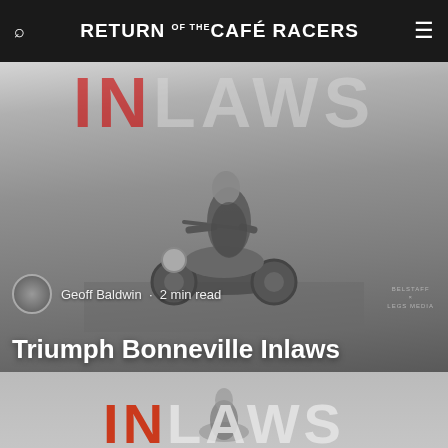Return of the Café Racers
[Figure (photo): Black and white hero image showing a man in a leather jacket sitting on a Triumph Bonneville motorcycle on a flat open road. Behind him is large text reading 'INLAWS' with IN in red and LAWS in grey/white.]
Geoff Baldwin · 2 min read
Triumph Bonneville Inlaws
BELSTAFF × LEGS MEDIA
[Figure (photo): Partial view of a second image below showing the INLAWS text (IN in red, LAWS in light grey) with a person partially visible, appearing to be a continuation or thumbnail of the main article image.]